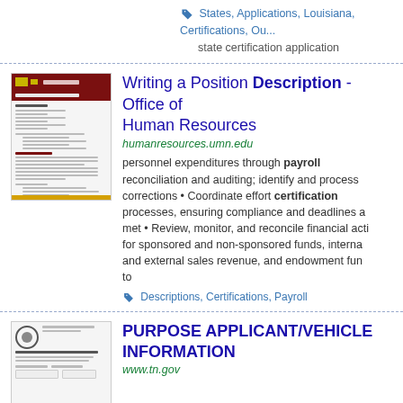States, Applications, Louisiana, Certifications, Ou... state certification application
Writing a Position Description - Office of Human Resources
humanresources.umn.edu
personnel expenditures through payroll reconciliation and auditing; identify and process corrections • Coordinate effort certification processes, ensuring compliance and deadlines a met • Review, monitor, and reconcile financial acti for sponsored and non-sponsored funds, interna and external sales revenue, and endowment fun to
Descriptions, Certifications, Payroll
PURPOSE APPLICANT/VEHICLE INFORMATION
www.tn.gov